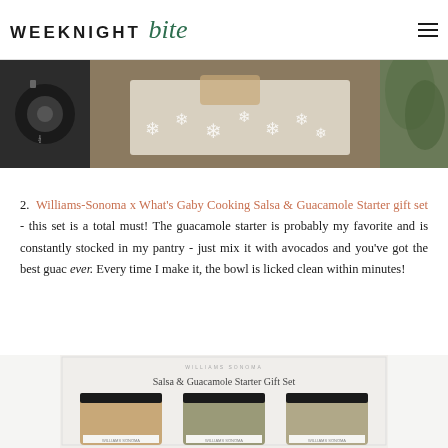WEEKNIGHT bite
[Figure (photo): Top portion of a holiday-themed photo showing a spool of ribbon, snowflake decorations, and greenery on a wooden surface]
2. Williams-Sonoma x What's Gaby Cooking Salsa & Guacamole Starter gift set - this set is a total must! The guacamole starter is probably my favorite and is constantly stocked in my pantry - just mix it with avocados and you've got the best guac ever. Every time I make it, the bowl is licked clean within minutes!
[Figure (photo): Williams-Sonoma Salsa & Guacamole Starter Gift Set box with three jars of salsa and guacamole starters]